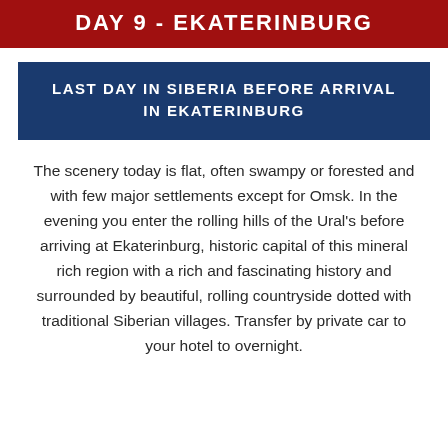DAY 9 - EKATERINBURG
LAST DAY IN SIBERIA BEFORE ARRIVAL IN EKATERINBURG
The scenery today is flat, often swampy or forested and with few major settlements except for Omsk. In the evening you enter the rolling hills of the Ural's before arriving at Ekaterinburg, historic capital of this mineral rich region with a rich and fascinating history and surrounded by beautiful, rolling countryside dotted with traditional Siberian villages. Transfer by private car to your hotel to overnight.